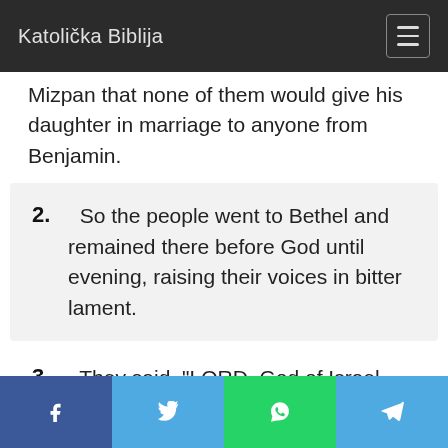Katolička Biblija
Mizpan that none of them would give his daughter in marriage to anyone from Benjamin.
2. So the people went to Bethel and remained there before God until evening, raising their voices in bitter lament.
3. They said, "LORD, God of Israel, why has it come to pass in Israel that today one
Facebook | Twitter | WhatsApp | Telegram